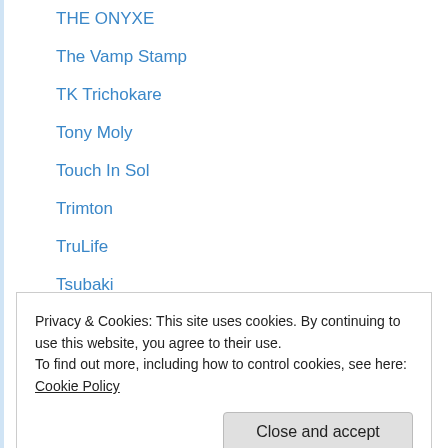THE ONYXE
The Vamp Stamp
TK Trichokare
Tony Moly
Touch In Sol
Trimton
TruLife
Tsubaki
Twistband
Twistband
Typo
Ujene
Uncle Tobys
Privacy & Cookies: This site uses cookies. By continuing to use this website, you agree to their use. To find out more, including how to control cookies, see here: Cookie Policy
Vaseline